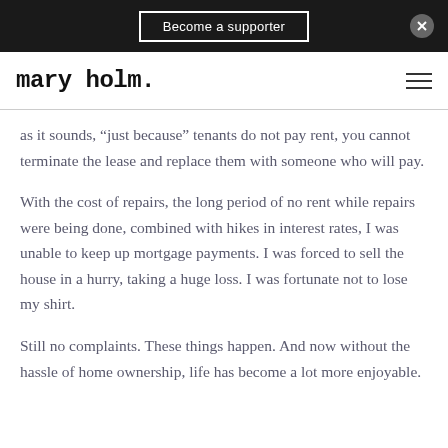Become a supporter
mary holm.
as it sounds, “just because” tenants do not pay rent, you cannot terminate the lease and replace them with someone who will pay.
With the cost of repairs, the long period of no rent while repairs were being done, combined with hikes in interest rates, I was unable to keep up mortgage payments. I was forced to sell the house in a hurry, taking a huge loss. I was fortunate not to lose my shirt.
Still no complaints. These things happen. And now without the hassle of home ownership, life has become a lot more enjoyable.